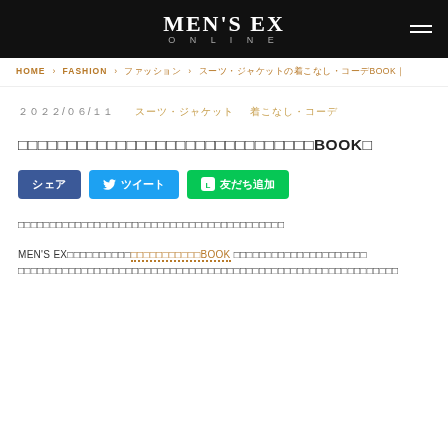MEN'S EX ONLINE
HOME > FASHION > ファッション > スーツ・ジャケットの着こなし・コーデBOOK｜
2022/06/11　スーツ・ジャケット　着こなし・コーデ
スーツ・ジャケットの着こなし＆コーデBOOK｜
[Figure (other): Social share buttons: シェア (Facebook), ツイート (Twitter), 友だち追加 (LINE)]
スーツ・ジャケットのコーデをお探しの方へ、着こなしのポイントをご紹介します。
MEN'S EXが厳選したスーツ・ジャケットのおすすめBOOK ☐ をまとめました。ご自身のスタイルに合わせてご活用ください。スーツ・ジャケットの着こなし・コーデについてさらに詳しく知りたい方はぜひご覧ください。